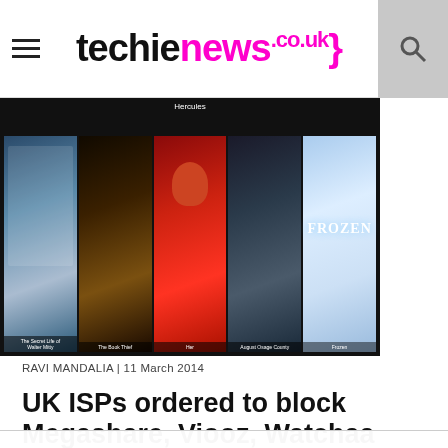techienews.co.uk
[Figure (screenshot): Movie poster strip showing film thumbnails: The Secret Life of Walter Mitty, The Book Thief, Her, August: Osage County, Frozen, with Hercules label at top center]
RAVI MANDALIA | 11 March 2014
UK ISPs ordered to block Megashare, Viooz, Watchaa and
We use cookies on our website to give you the most relevant experience by remembering your preferences and repeat visits. By clicking “Accept”, you consent to the use of ALL the cookies.
Cookie settings   ACCEPT